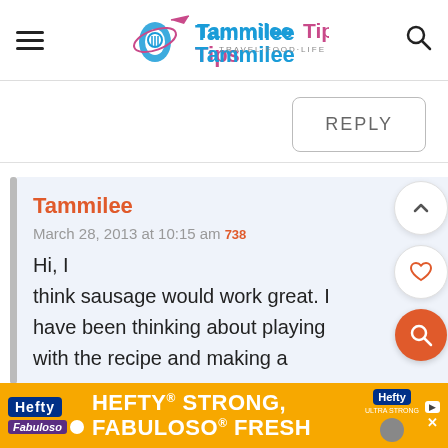[Figure (logo): Tammilee Tips logo with Travel+Food+Life tagline, hamburger menu icon on left, search icon on right]
REPLY
Tammilee
March 28, 2013 at 10:15 am
738
Hi, I think sausage would work great. I have been thinking about playing with the recipe and making a
[Figure (infographic): Advertisement banner: Hefty STRONG, FABULOSO FRESH]